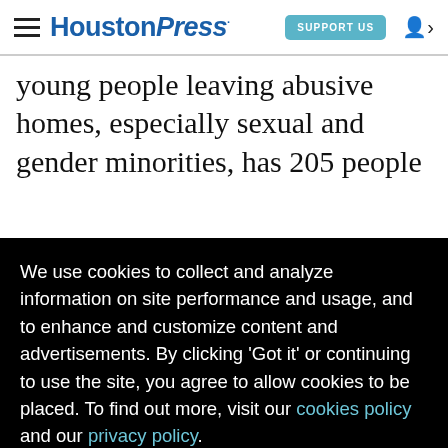HoustonPress | SUPPORT US
young people leaving abusive homes, especially sexual and gender minorities, has 205 people
re not
[Figure (other): Cookie consent overlay on HoustonPress website. Black background with white text reading: 'We use cookies to collect and analyze information on site performance and usage, and to enhance and customize content and advertisements. By clicking ‘Got it’ or continuing to use the site, you agree to allow cookies to be placed. To find out more, visit our cookies policy and our privacy policy.' Below is a yellow 'Got it!' button.]
he and dorm e for
d,” a